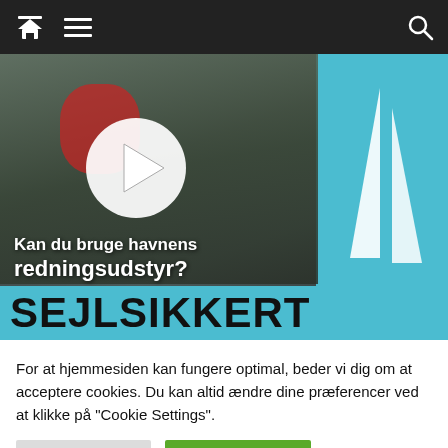[Figure (screenshot): Dark navigation bar with home icon, hamburger menu icon on the left, and search icon on the right, white icons on black background]
[Figure (photo): Screenshot of a sailing safety website (Sejlsikkert) showing a video thumbnail of a person in a life vest near water with a play button overlay. Text reads 'Kan du bruge havnens redningsudstyr?' and 'SEJLSIKKERT' in a cyan/blue strip at bottom. Cyan block on right with sail logo.]
For at hjemmesiden kan fungere optimal, beder vi dig om at acceptere cookies. Du kan altid ændre dine præferencer ved at klikke på "Cookie Settings".
Cookie Settings
Accepter cookies